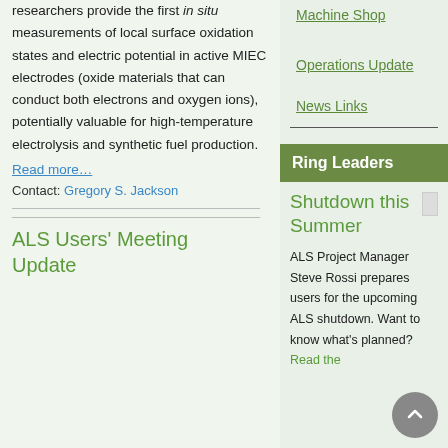researchers provide the first in situ measurements of local surface oxidation states and electric potential in active MIEC electrodes (oxide materials that can conduct both electrons and oxygen ions), potentially valuable for high-temperature electrolysis and synthetic fuel production.
Read more…
Contact: Gregory S. Jackson
ALS Users' Meeting Update
Machine Shop
Operations Update
News Links
Ring Leaders
Shutdown this Summer
ALS Project Manager Steve Rossi prepares users for the upcoming ALS shutdown. Want to know what's planned? Read the